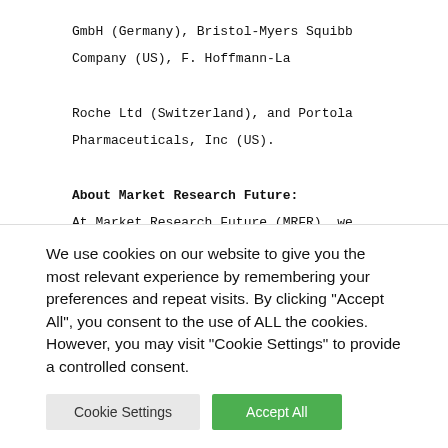GmbH (Germany), Bristol-Myers Squibb Company (US), F. Hoffmann-La Roche Ltd (Switzerland), and Portola Pharmaceuticals, Inc (US).
About Market Research Future:
At Market Research Future (MRFR), we enable our customers to unravel the complexity of various industries through our Cooked Research Report (CRR), Half-Cooked Research Reports (HCRR), & Consulting Services. MRFR team have supreme objective to provide the optimum
We use cookies on our website to give you the most relevant experience by remembering your preferences and repeat visits. By clicking "Accept All", you consent to the use of ALL the cookies. However, you may visit "Cookie Settings" to provide a controlled consent.